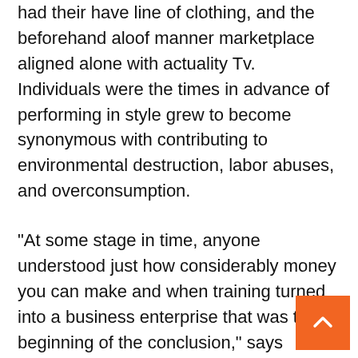had their have line of clothing, and the beforehand aloof manner marketplace aligned alone with actuality Tv. Individuals were the times in advance of performing in style grew to become synonymous with contributing to environmental destruction, labor abuses, and overconsumption.
“At some stage in time, anyone understood just how considerably money you can make and when training turned into a business enterprise that was the beginning of the conclusion,” says Ungless. He describes it as “feeding the beast.” Whilst he believes that hingeing a diploma on a graduate vogue demonstrate is outmoded and unwanted, it provides the college fundraising chances, publicity, and eve attracts famous people. Madonna and FKA Twigs ended up seated entrance row at the latest CSM BFA exhibit.